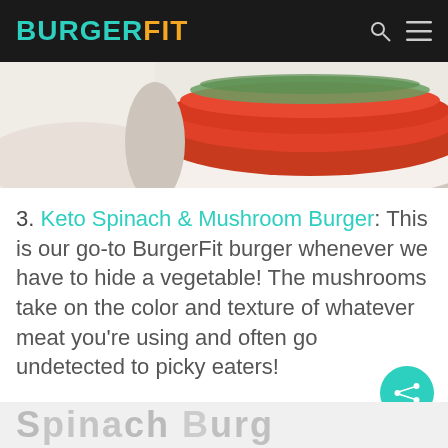BURGERFIT
[Figure (photo): Close-up photo of a burger with tomato slices and green spinach leaves on a white plate, cropped view.]
3. Keto Spinach & Mushroom Burger: This is our go-to BurgerFit burger whenever we have to hide a vegetable! The mushrooms take on the color and texture of whatever meat you're using and often go undetected to picky eaters!